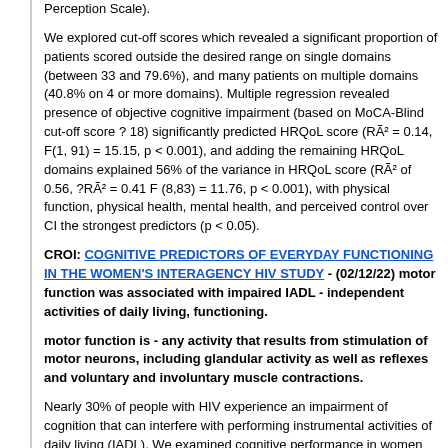Perception Scale).
We explored cut-off scores which revealed a significant proportion of patients scored outside the desired range on single domains (between 33 and 79.6%), and many patients on multiple domains (40.8% on 4 or more domains). Multiple regression revealed presence of objective cognitive impairment (based on MoCA-Blind cut-off score ? 18) significantly predicted HRQoL score (RÃ² = 0.14, F(1, 91) = 15.15, p < 0.001), and adding the remaining HRQoL domains explained 56% of the variance in HRQoL score (RÃ² of 0.56, ?RÃ² = 0.41 F (8,83) = 11.76, p < 0.001), with physical function, physical health, mental health, and perceived control over CI the strongest predictors (p < 0.05).
CROI: COGNITIVE PREDICTORS OF EVERYDAY FUNCTIONING IN THE WOMEN'S INTERAGENCY HIV STUDY - (02/12/22) motor function was associated with impaired IADL - independent activities of daily living, functioning.
motor function is - any activity that results from stimulation of motor neurons, including glandular activity as well as reflexes and voluntary and involuntary muscle contractions.
Nearly 30% of people with HIV experience an impairment of cognition that can interfere with performing instrumental activities of daily living (IADL). We examined cognitive performance in women with HIV (WWH) and HIV-uninfected women from the Womenâ€™s Interagency HIV Study (WIHS) to determine the relationship between cognitive function across seven cognitive domains and self-reported IADL.